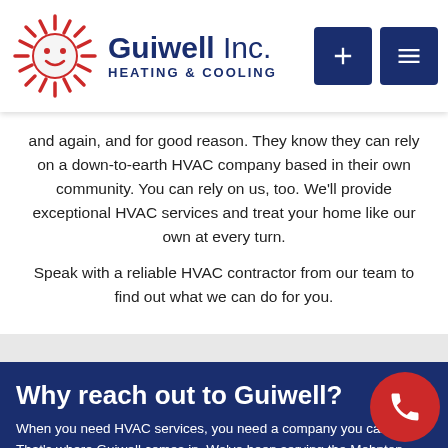Guiwell Inc. HEATING & COOLING
and again, and for good reason. They know they can rely on a down-to-earth HVAC company based in their own community. You can rely on us, too. We'll provide exceptional HVAC services and treat your home like our own at every turn.
Speak with a reliable HVAC contractor from our team to find out what we can do for you.
Why reach out to Guiwell?
When you need HVAC services, you need a company you can trust. That's where Guiwell comes in. We've been serving the Mohnton, Sinking Spring & Wyomissing, PA community for over 32 years. Plus, we're fully certified by North American Technician Excellence (NATE).
You can trust us to sell and install equipment from reputable brands at affordable prices. Our company is a: